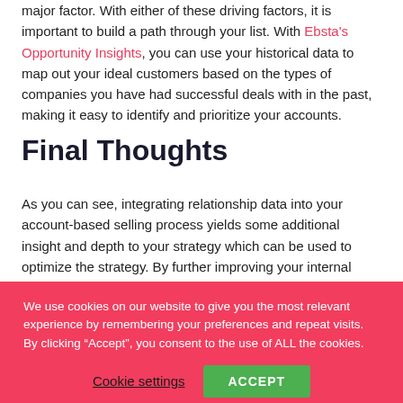major factor. With either of these driving factors, it is important to build a path through your list. With Ebsta's Opportunity Insights, you can use your historical data to map out your ideal customers based on the types of companies you have had successful deals with in the past, making it easy to identify and prioritize your accounts.
Final Thoughts
As you can see, integrating relationship data into your account-based selling process yields some additional insight and depth to your strategy which can be used to optimize the strategy. By further improving your internal processes and gaining additional
We use cookies on our website to give you the most relevant experience by remembering your preferences and repeat visits. By clicking “Accept”, you consent to the use of ALL the cookies.
Cookie settings   ACCEPT